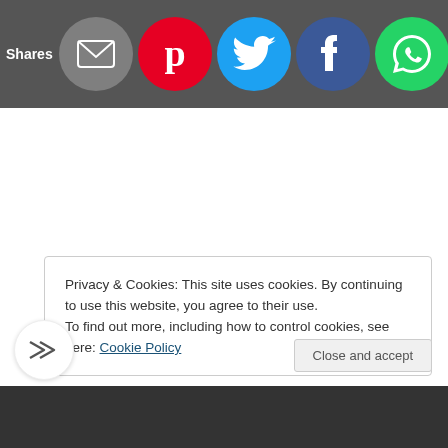[Figure (screenshot): Social sharing bar with 'Shares' label and circular icons: email (grey), Pinterest (red), Twitter (blue), Facebook (dark blue), WhatsApp (green), SMS (blue), Crown/VIP (dark blue)]
Privacy & Cookies: This site uses cookies. By continuing to use this website, you agree to their use.
To find out more, including how to control cookies, see here: Cookie Policy
Close and accept